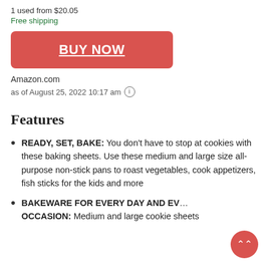1 used from $20.05
Free shipping
BUY NOW
Amazon.com
as of August 25, 2022 10:17 am
Features
READY, SET, BAKE: You don't have to stop at cookies with these baking sheets. Use these medium and large size all-purpose non-stick pans to roast vegetables, cook appetizers, fish sticks for the kids and more
BAKEWARE FOR EVERY DAY AND EVERY OCCASION: Medium and large cookie sheets